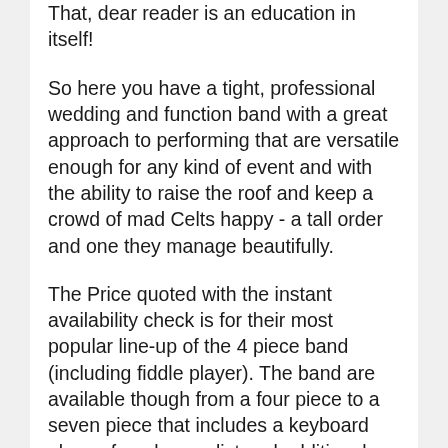That, dear reader is an education in itself!
So here you have a tight, professional wedding and function band with a great approach to performing that are versatile enough for any kind of event and with the ability to raise the roof and keep a crowd of mad Celts happy - a tall order and one they manage beautifully.
The Price quoted with the instant availability check is for their most popular line-up of the 4 piece band (including fiddle player). The band are available though from a four piece to a seven piece that includes a keyboard player, female vocalist and additional fiddle players.